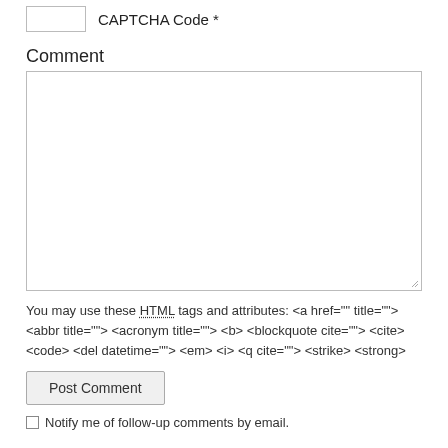CAPTCHA Code *
Comment
You may use these HTML tags and attributes: <a href="" title=""> <abbr title=""> <acronym title=""> <b> <blockquote cite=""> <cite> <code> <del datetime=""> <em> <i> <q cite=""> <strike> <strong>
Post Comment
Notify me of follow-up comments by email.